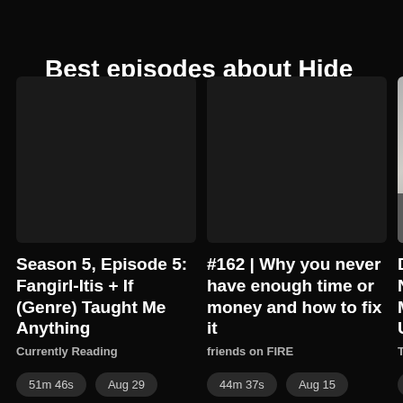Best episodes about Hide
[Figure (screenshot): Dark card with no image for episode: Season 5, Episode 5: Fangirl-Itis + If (Genre) Taught Me Anything]
Season 5, Episode 5: Fangirl-Itis + If (Genre) Taught Me Anything
Currently Reading
51m 46s
Aug 29
[Figure (screenshot): Dark card with no image for episode: #162 | Why you never have enough time or money and how to fix it]
#162 | Why you never have enough time or money and how to fix it
friends on FIRE
44m 37s
Aug 15
[Figure (screenshot): Partially visible card with podcast cover image showing a person and logo 'gl']
Did Nuc Mel Unn
The G
2h